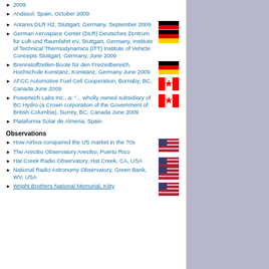2009
Andasol, Spain, October 2009
Antares DLR H2, Stuttgart, Germany, September 2009
German Aerospace Center (DLR) Deutsches Zentrum für Luft-und Raumfahrt eV, Stuttgart, Germany, Institute of Technical Thermodynamics (ITT) Institute of Vehicle Concepts Stuttgart, Germany, June 2009
Brennstoffzellen-Boote für den Freizeitbereich, Hochschule Konstanz, Konstanz, Germany June 2009
AFCC Automotive Fuel Cell Cooperation, Burnaby, BC, Canada June 2009
Powertech Labs Inc., a: "... wholly owned subsidiary of BC Hydro (a Crown corporation of the Government of British Columbia), Surrey, BC, Canada June 2009
Plataforma Solar de Almeria, Spain
Observations
How Airbus conquered the US market in the 70s
The Arecibo Observatory Arecibo, Puerto Rico
Hat Creek Radio Observatory, Hat Creek, CA, USA
National Radio Astronomy Observatory, Green Bank, WV, USA
Wright Brothers National Memorial, Kitty